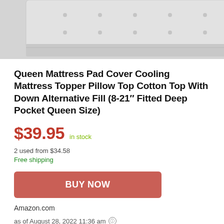[Figure (photo): Product photo of a white/light gray mattress pad cover, partially visible at the top of the page]
Queen Mattress Pad Cover Cooling Mattress Topper Pillow Top Cotton Top With Down Alternative Fill (8-21″ Fitted Deep Pocket Queen Size)
$39.95  in stock
2 used from $34.58
Free shipping
BUY NOW
Amazon.com
as of August 28, 2022 11:36 am ⓘ